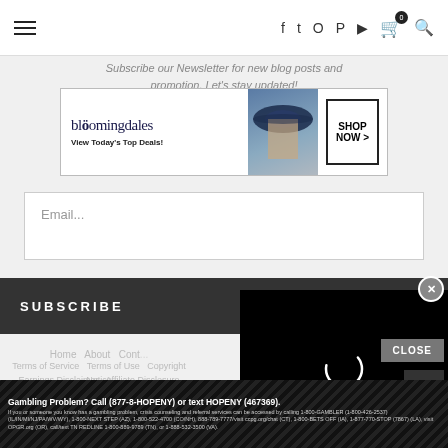Navigation bar with hamburger menu, social icons (facebook, twitter, instagram, pinterest, youtube), cart with badge 0, and search icon
Subscribe our Newsletter for new blog posts and promotion. Let's stay updated!
[Figure (screenshot): Bloomingdales advertisement banner: logo, 'View Today's Top Deals!', woman in striped hat, 'SHOP NOW >' button]
Email...
SUBSCRIBE
[Figure (screenshot): Black video overlay with circular loading spinner]
Home   About   Cont...
Terms of Service   Terms of Use   Copyright Notice
Earnings Disclaimer   Affiliate Disclosure
Shipping Policy   Refund Poli...
This we... you... icy
Gambling Problem? Call (877-8-HOPENY) or text HOPENY (467369). If you or someone you know has a gambling problem, crisis counseling and referral services can be accessed by calling 1-800-GAMBLER (1-800-426-2537) (IL/IN/MI/NJ/PA/WV/WY), 1-800-NEXT STEP (AZ), 1-800-522-4700 (CO/NH), 888-789-7777/visit ccpg.org/chat (CT), 1-800-BETS OFF (IA), 1-877-770-STOP (7867) (LA), visit OPGR.org (OR), call/text TN REDLINE 1-800-889-9789 (TN), or 1-888-532-3500 (VA).